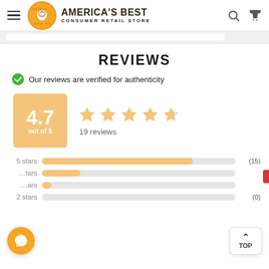AMERICA'S BEST CONSUMER RETAIL STORE
REVIEWS
Our reviews are verified for authenticity
[Figure (infographic): Rating summary: 4.7 out of 5 with 4.5 stars shown and 19 reviews total]
[Figure (bar-chart): Star rating distribution]